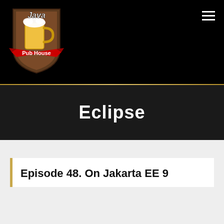[Figure (logo): Java Pub House logo - a shield with beer mug and red ribbon banner reading 'Pub House']
≡
Eclipse
Episode 48. On Jakarta EE 9